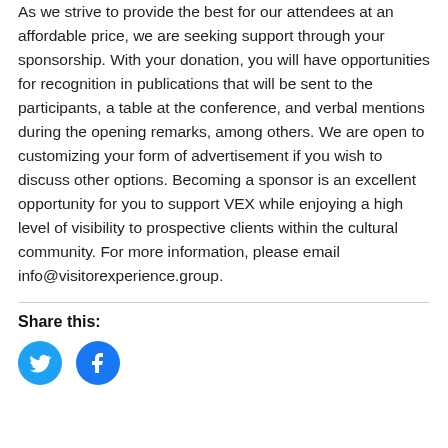As we strive to provide the best for our attendees at an affordable price, we are seeking support through your sponsorship. With your donation, you will have opportunities for recognition in publications that will be sent to the participants, a table at the conference, and verbal mentions during the opening remarks, among others. We are open to customizing your form of advertisement if you wish to discuss other options. Becoming a sponsor is an excellent opportunity for you to support VEX while enjoying a high level of visibility to prospective clients within the cultural community. For more information, please email info@visitorexperience.group.
Share this:
[Figure (other): Two circular social media icons: Twitter (blue) and Facebook (blue)]